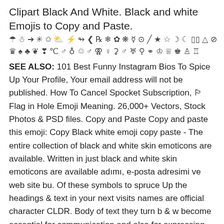Clipart Black And White. Black and white Emojis to Copy and Paste.
☂ ☃ ➔ ✳ ✩ ⛅ ⚡ ↬ ❮ ℞ ❄ ✿ ❋ ☿ ⊙ ╱ ★ ☆ ☽ ☾ ▯▯ △ ⊘
♛ ♠ ♣ ❦ ❣ ℃ ♂ ♁ ♲ ♂ ⚢ ♀ ⚳ ♂ ♅ ⚲ ⚭ ♔ ♕ ♚ ♙ ♖
SEE ALSO: 101 Best Funny Instagram Bios To Spice Up Your Profile, Your email address will not be published. How To Cancel Spocket Subscription, 🏳Flag in Hole Emoji Meaning. 26,000+ Vectors, Stock Photos & PSD files. Copy and Paste Copy and paste this emoji: Copy Black white emoji copy paste - The entire collection of black and white skin emoticons are available. Written in just black and white skin emoticons are available adımı, e-posta adresimi ve web site bu. Of these symbols to spruce Up the headings & text in your next visits names are official character CLDR. Body of text they turn b & w become essential for communication and also for expressing